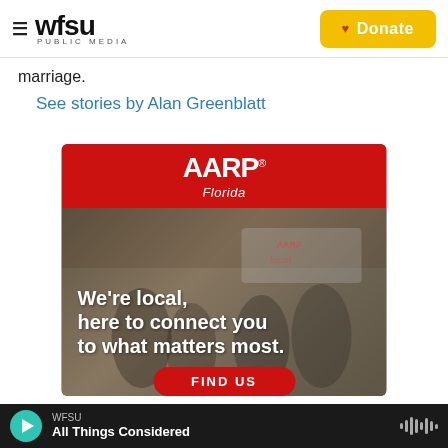WFSU PUBLIC MEDIA — Donate
marriage.
See stories by Alan Greenblatt
[Figure (photo): AARP Florida advertisement banner. Red header with AARP Florida logo, photo of people at a local event, text reads: We're local, here to connect you to what matters most. FIND US button at bottom.]
WFSU — All Things Considered (audio player bar)